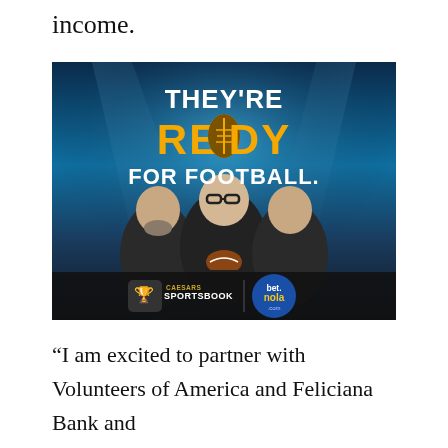income.
[Figure (photo): Advertisement image showing three men in dark shirts with arms crossed in front of a football stadium background. Text reads 'THEY'RE READY FOR FOOTBALL.' with Caesars Sportsbook and bet.nola.com logos at the bottom.]
“I am excited to partner with Volunteers of America and Feliciana Bank and